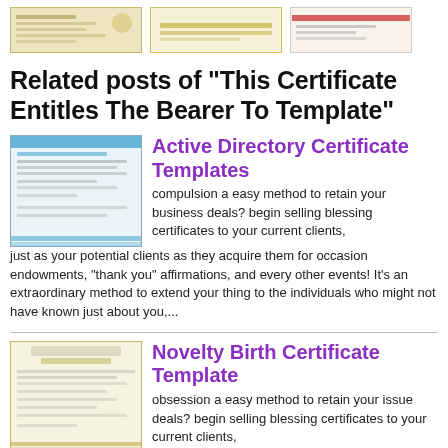[Figure (illustration): Three thumbnail images of certificate templates at the top of the page]
Related posts of "This Certificate Entitles The Bearer To Template"
[Figure (illustration): Thumbnail of Active Directory Certificate Templates]
Active Directory Certificate Templates
compulsion a easy method to retain your business deals? begin selling blessing certificates to your current clients, just as your potential clients as they acquire them for occasion endowments, "thank you" affirmations, and every other events! It's an extraordinary method to extend your thing to the individuals who might not have known just about you,...
[Figure (illustration): Thumbnail of Novelty Birth Certificate Template]
Novelty Birth Certificate Template
obsession a easy method to retain your issue deals? begin selling blessing certificates to your current clients, just as your potential clients as they acquire them for occasion endowments, "thank you" affirmations, and stand-in events! It's an astounding method to extend your situation to the individuals who might